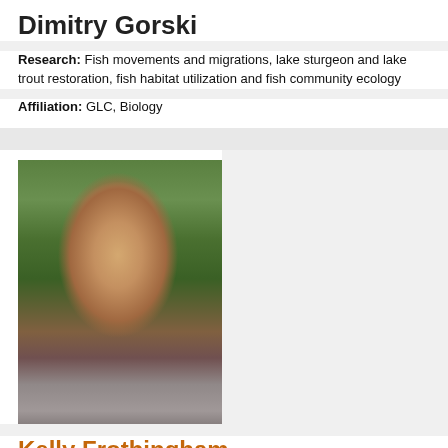Dimitry Gorski
Research: Fish movements and migrations, lake sturgeon and lake trout restoration, fish habitat utilization and fish community ecology
Affiliation: GLC, Biology
[Figure (photo): Portrait photo of Kelly Frothingham outdoors with green trees and foliage in background, wearing a plaid shirt]
Kelly Frothingham
Research: Human impact on streams and stream restoration
We use cookies and similar technologies to improve your website experience and help us understand how you navigate our website. You may disable cookies in your browser; however, you may not have an optimal user experience. Refer to our Cookie Policy to learn more.